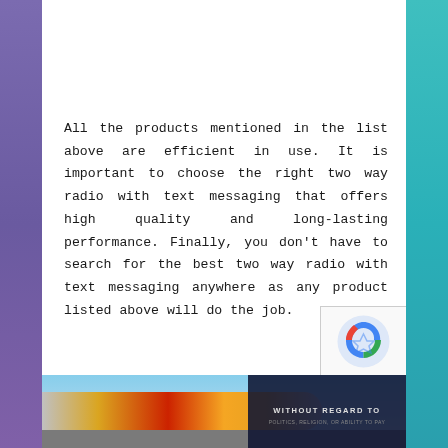All the products mentioned in the list above are efficient in use. It is important to choose the right two way radio with text messaging that offers high quality and long-lasting performance. Finally, you don't have to search for the best two way radio with text messaging anywhere as any product listed above will do the job.
[Figure (photo): Advertisement banner showing a cargo aircraft being loaded, with a dark overlay on the right side containing bold white text reading 'WITHOUT REGARD TO' and smaller text below.]